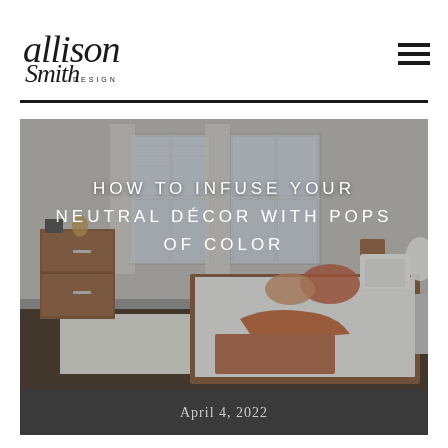[Figure (logo): Allison Smith Design logo in cursive script with DESIGN in small caps below]
[Figure (illustration): Hamburger menu icon with three horizontal bars]
[Figure (photo): Photo of a bedroom with neutral decor, wooden dresser, bed with white bedding and orange/terracotta accent pillows and throw, windows with white shutters. Title text overlaid: HOW TO INFUSE YOUR NEUTRAL DÉCOR WITH POPS OF COLOR]
April 4, 2022